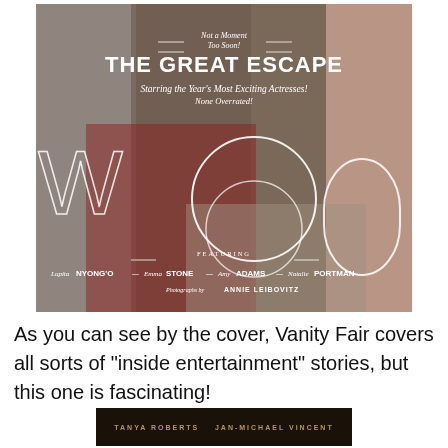[Figure (photo): Vanity Fair magazine cover showing actresses Lupita Nyong'o, Emma Stone, Amy Adams, and Natalie Portman. The cover features large letters spelling HOLLYWOOD with the letters W, O, O, D visible. Text reads 'Not a Moment Too Soon! THE GREAT ESCAPE Starring the Year's Most Exciting Actresses! None Overrated!' and 'FEATURING Lupita NYONG'O — Emma STONE — Amy ADAMS — Natalie PORTMAN' and 'Photographs by ANNIE LEIBOVITZ']
As you can see by the cover, Vanity Fair covers all sorts of "inside entertainment" stories, but this one is fascinating!
[Figure (photo): Dark banner image with gold text reading: TANYA ROBERTS   JAN-MICHAEL VINCENT]